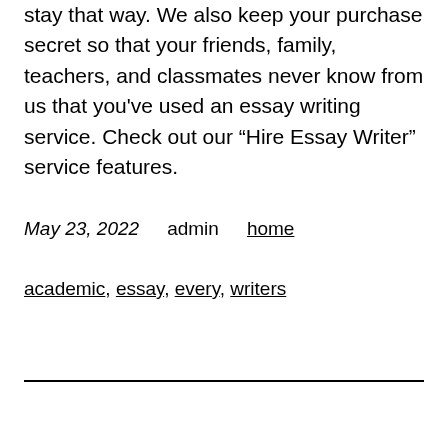stay that way. We also keep your purchase secret so that your friends, family, teachers, and classmates never know from us that you've used an essay writing service. Check out our “Hire Essay Writer” service features.
May 23, 2022   admin   home
academic, essay, every, writers